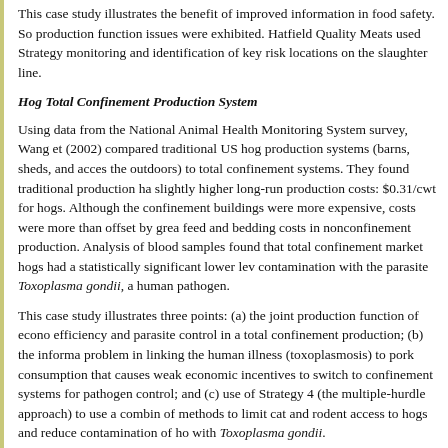This case study illustrates the benefit of improved information in food safety. So production function issues were exhibited. Hatfield Quality Meats used Strategy monitoring and identification of key risk locations on the slaughter line.
Hog Total Confinement Production System
Using data from the National Animal Health Monitoring System survey, Wang et (2002) compared traditional US hog production systems (barns, sheds, and acces the outdoors) to total confinement systems. They found traditional production ha slightly higher long-run production costs: $0.31/cwt for hogs. Although the confinement buildings were more expensive, costs were more than offset by grea feed and bedding costs in nonconfinement production. Analysis of blood samples found that total confinement market hogs had a statistically significant lower lev contamination with the parasite Toxoplasma gondii, a human pathogen.
This case study illustrates three points: (a) the joint production function of econo efficiency and parasite control in a total confinement production; (b) the informa problem in linking the human illness (toxoplasmosis) to pork consumption that causes weak economic incentives to switch to confinement systems for pathogen control; and (c) use of Strategy 4 (the multiple-hurdle approach) to use a combin of methods to limit cat and rodent access to hogs and reduce contamination of ho with Toxoplasma gondii.